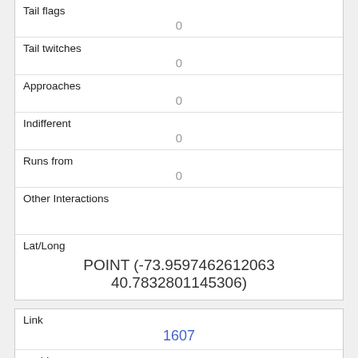| Tail flags | 0 |
| Tail twitches | 0 |
| Approaches | 0 |
| Indifferent | 0 |
| Runs from | 0 |
| Other Interactions |  |
| Lat/Long | POINT (-73.9597462612063 40.7832801145306) |
| Link | 1607 |
| rowid | 1607 |
| longitude |  |